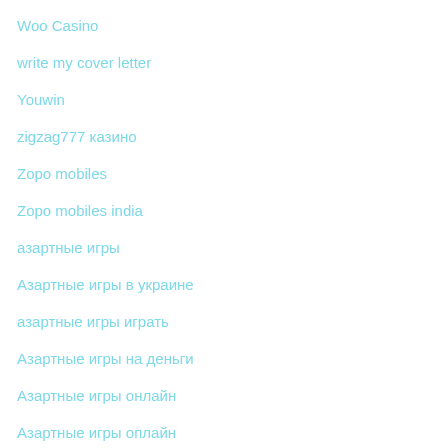Woo Casino
write my cover letter
Youwin
zigzag777 казино
Zopo mobiles
Zopo mobiles india
азартные игры
Азартные игры в украине
азартные игры играть
Азартные игры на деньги
Азартные игры онлайн
Азартные игры оплайн
азартные игры украина